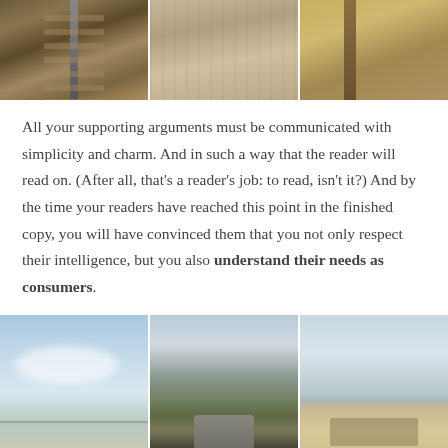[Figure (photo): Three landscape photos side by side: railroad tracks, wooden planks/floor, and a wooden boardwalk]
All your supporting arguments must be communicated with simplicity and charm. And in such a way that the reader will read on. (After all, that's a reader's job: to read, isn't it?) And by the time your readers have reached this point in the finished copy, you will have convinced them that you not only respect their intelligence, but you also understand their needs as consumers.
[Figure (photo): Three landscape photos side by side: open sky over flat land, winding mountain road, and a beach scene]